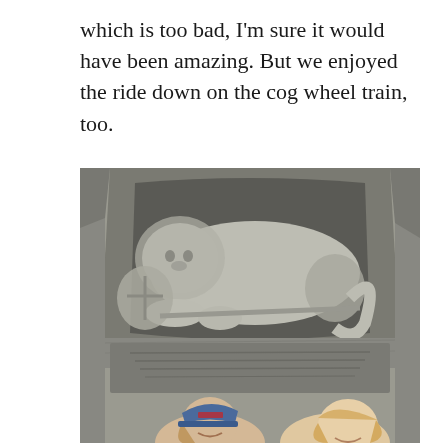which is too bad, I'm sure it would have been amazing. But we enjoyed the ride down on the cog wheel train, too.
[Figure (photo): Photo of the Lion Monument (Löwendenkmal) in Lucerne, Switzerland — a large stone carving of a dying lion resting in a rock niche, with two smiling people (a person with a blue baseball cap and a blonde woman) posing in front of the monument.]